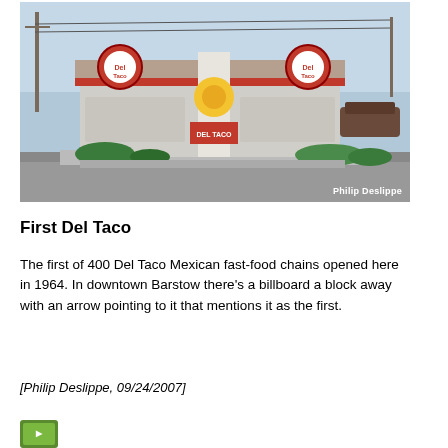[Figure (photo): Exterior photo of the first Del Taco restaurant in Barstow, a low one-story building with red and white Del Taco signage and circular logo signs on the roofline, taken during daytime. Photo credit: Philip Deslippe.]
First Del Taco
The first of 400 Del Taco Mexican fast-food chains opened here in 1964. In downtown Barstow there's a billboard a block away with an arrow pointing to it that mentions it as the first.
[Philip Deslippe, 09/24/2007]
[Figure (illustration): Small icon/thumbnail image at the bottom left, partially visible, appears to be a green and yellow road sign or marker.]